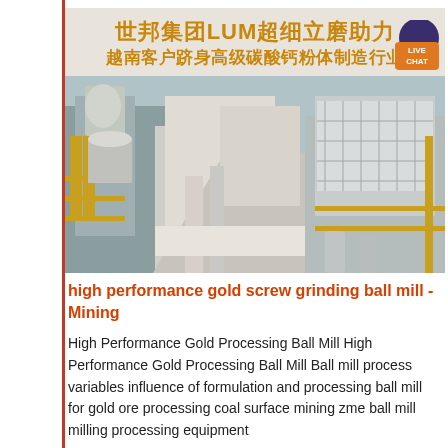[Figure (photo): Banner image with Chinese text '世邦集团LUM超细立磨助力 越南客户跻身高级碳酸钙粉体制造行业' in gold/orange on beige background, with an industrial milling/grinding facility photo below it showing large industrial equipment, pipes and machinery. A 'LIVE CHAT' button badge is in the upper right.]
high performance gold screw grinding ball mill - Mining
High Performance Gold Processing Ball Mill High Performance Gold Processing Ball Mill Ball mill process variables influence of formulation and processing ball mill for gold ore processing coal surface mining zme ball mill milling processing equipment